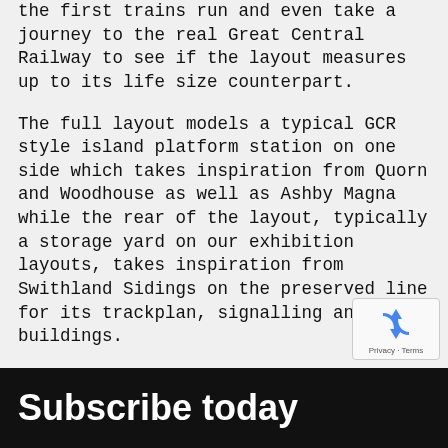the first trains run and even take a journey to the real Great Central Railway to see if the layout measures up to its life size counterpart.
The full layout models a typical GCR style island platform station on one side which takes inspiration from Quorn and Woodhouse as well as Ashby Magna while the rear of the layout, typically a storage yard on our exhibition layouts, takes inspiration from Swithland Sidings on the preserved line for its trackplan, signalling and buildings.
Join us for the first part of the Great Central Railway layout build and discover the full story of its development today.
[Figure (other): reCAPTCHA badge with recycling-arrow icon and Privacy/Terms links]
Subscribe today